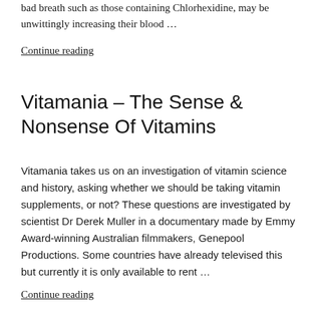bad breath such as those containing Chlorhexidine, may be unwittingly increasing their blood …
Continue reading
Vitamania – The Sense & Nonsense Of Vitamins
Vitamania takes us on an investigation of vitamin science and history, asking whether we should be taking vitamin supplements, or not? These questions are investigated by scientist Dr Derek Muller in a documentary made by Emmy Award-winning Australian filmmakers, Genepool Productions. Some countries have already televised this but currently it is only available to rent …
Continue reading